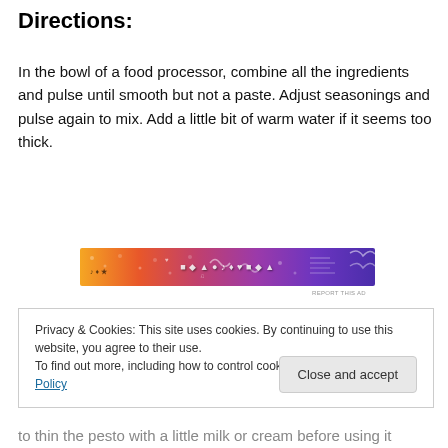Directions:
In the bowl of a food processor, combine all the ingredients and pulse until smooth but not a paste. Adjust seasonings and pulse again to mix. Add a little bit of warm water if it seems too thick.
[Figure (other): Colorful advertisement banner with gradient from orange to purple with decorative elements and text]
Privacy & Cookies: This site uses cookies. By continuing to use this website, you agree to their use.
To find out more, including how to control cookies, see here: Cookie Policy
to thin the pesto with a little milk or cream before using it